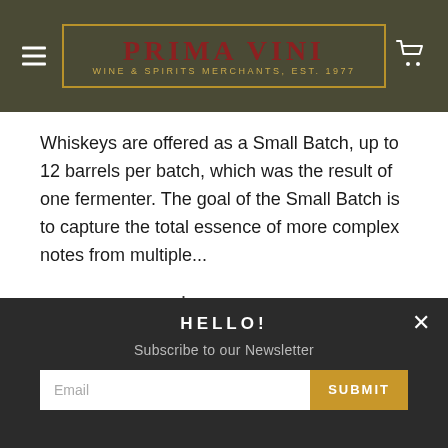PRIMA VINI — WINE & SPIRITS MERCHANTS, EST. 1977
Whiskeys are offered as a Small Batch, up to 12 barrels per batch, which was the result of one fermenter. The goal of the Small Batch is to capture the total essence of more complex notes from multiple...
$49.99
Quick View
HELLO!
Subscribe to our Newsletter
Email
SUBMIT